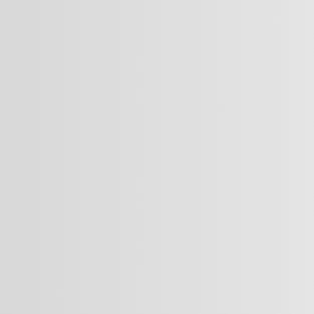Basic Competences o…
Sensor Technology…
Engineering Competences
Practical Training 2
Engineering Competenc… (Choose one)
Intelligent Machines, …
Basics in Data Com…
Basics of Logical C…
Basics of Laborato…
Core Competences of Stud… (Choose one)
Core Competencies of I…
Freely Chosen Cours…